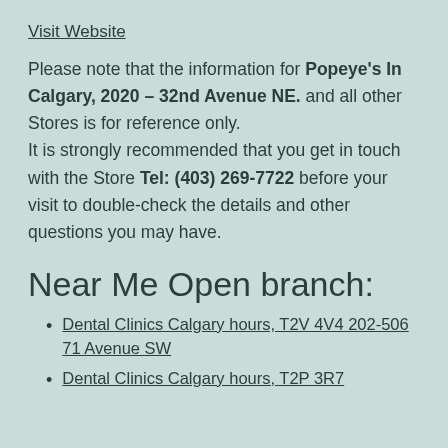Visit Website
Please note that the information for Popeye's In Calgary, 2020 – 32nd Avenue NE. and all other Stores is for reference only. It is strongly recommended that you get in touch with the Store Tel: (403) 269-7722 before your visit to double-check the details and other questions you may have.
Near Me Open branch:
Dental Clinics Calgary hours, T2V 4V4 202-506 71 Avenue SW
Dental Clinics Calgary hours, T2P 3R7